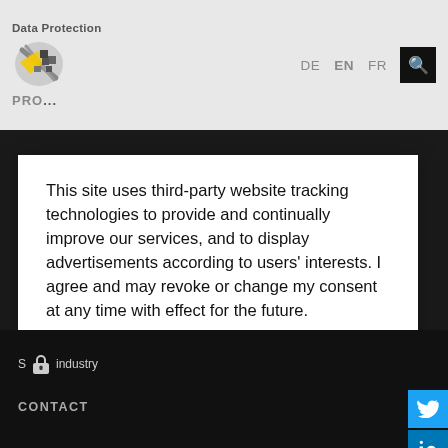Data Protection | DE EN FR
This site uses third-party website tracking technologies to provide and continually improve our services, and to display advertisements according to users' interests. I agree and may revoke or change my consent at any time with effect for the future.
Accept
Deny
more
S industry CONTACT